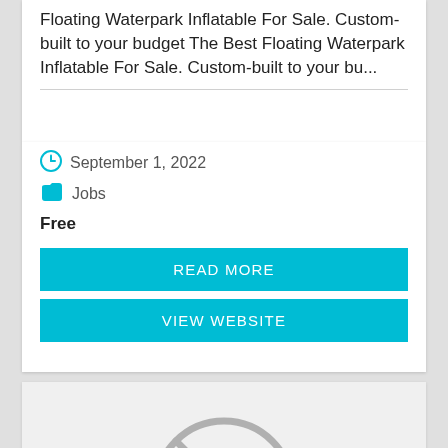Floating Waterpark Inflatable For Sale. Custom-built to your budget The Best Floating Waterpark Inflatable For Sale. Custom-built to your bu...
September 1, 2022
Jobs
Free
READ MORE
VIEW WEBSITE
[Figure (illustration): No image available placeholder icon — a camera with a diagonal line through it, in gray on light gray background]